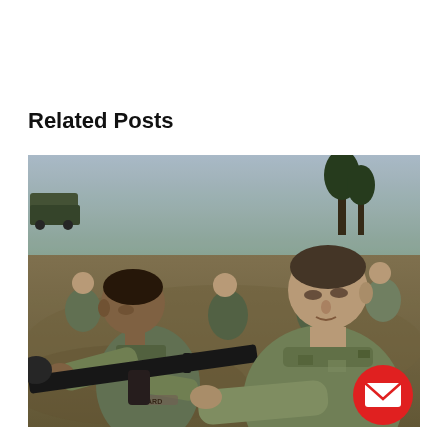Related Posts
[Figure (photo): Military training scene: A US Marine in camouflage uniform holds and examines a rocket-propelled grenade (RPG) launcher while a soldier in Ukrainian-style camouflage uniform assists and instructs him. Several other soldiers sit in the background on a hillside with vehicles visible. The scene appears to be an outdoor military training exercise.]